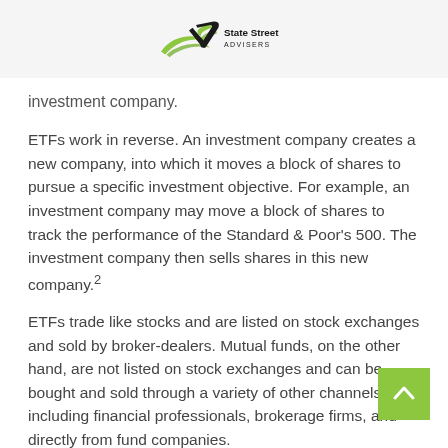[Figure (logo): State Street Advisers logo with stylized green and black arrow/swoosh graphic]
investment company.
ETFs work in reverse. An investment company creates a new company, into which it moves a block of shares to pursue a specific investment objective. For example, an investment company may move a block of shares to track the performance of the Standard & Poor's 500. The investment company then sells shares in this new company.²
ETFs trade like stocks and are listed on stock exchanges and sold by broker-dealers. Mutual funds, on the other hand, are not listed on stock exchanges and can be bought and sold through a variety of other channels — including financial professionals, brokerage firms, and directly from fund companies.
The price of an ETF is determined continuously throughout